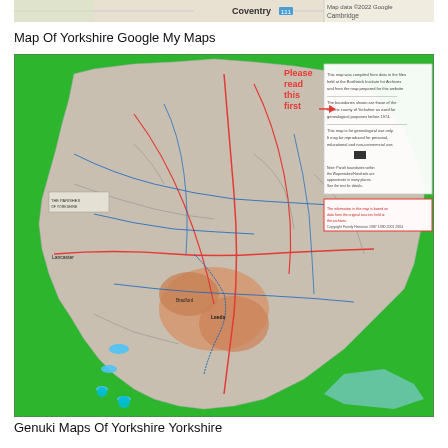[Figure (map): Partial strip of a Google Maps view showing Coventry area with map attribution 'Map data ©2022 Google' and 'Cambridge' partially visible.]
Map Of Yorkshire Google My Maps
[Figure (map): Detailed Genuki map of Yorkshire showing county boundary, roads (red and blue lines), settlements, green surrounding areas, blue water bodies, and a legend/text box in the upper right corner with 'Please read this first' in red text with an arrow.]
Genuki Maps Of Yorkshire Yorkshire